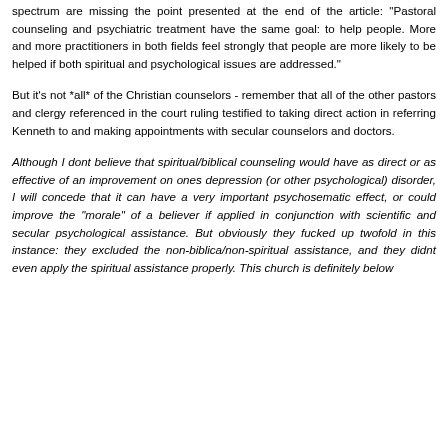spectrum are missing the point presented at the end of the article: "Pastoral counseling and psychiatric treatment have the same goal: to help people. More and more practitioners in both fields feel strongly that people are more likely to be helped if both spiritual and psychological issues are addressed."
But it's not *all* of the Christian counselors - remember that all of the other pastors and clergy referenced in the court ruling testified to taking direct action in referring Kenneth to and making appointments with secular counselors and doctors.
Although I dont believe that spiritual/biblical counseling would have as direct or as effective of an improvement on ones depression (or other psychological) disorder, I will concede that it can have a very important psychosematic effect, or could improve the "morale" of a believer if applied in conjunction with scientific and secular psychological assistance. But obviously they fucked up twofold in this instance: they excluded the non-biblica/non-spiritual assistance, and they didnt even apply the spiritual assistance properly. This church is definitely below